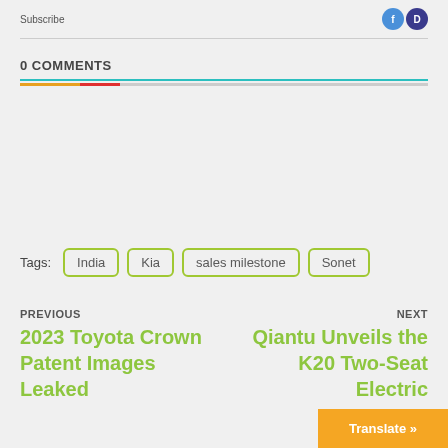Subscribe
0 COMMENTS
Tags: India  Kia  sales milestone  Sonet
PREVIOUS
2023 Toyota Crown Patent Images Leaked
NEXT
Qiantu Unveils the K20 Two-Seat Electric
Translate »